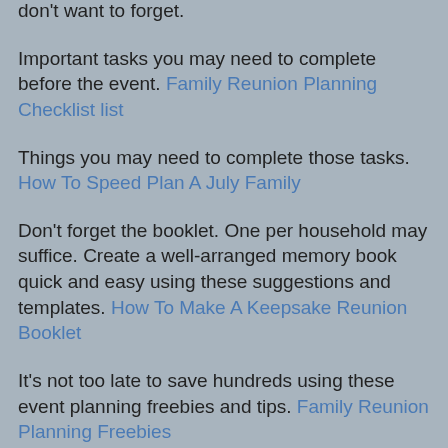don't want to forget.
Important tasks you may need to complete before the event. Family Reunion Planning Checklist list
Things you may need to complete those tasks. How To Speed Plan A July Family
Don't forget the booklet. One per household may suffice. Create a well-arranged memory book quick and easy using these suggestions and templates. How To Make A Keepsake Reunion Booklet
It's not too late to save hundreds using these event planning freebies and tips. Family Reunion Planning Freebies
Materials and supplies to remember days before your outdoor potluck family reunion picnic. 9 Last Minute